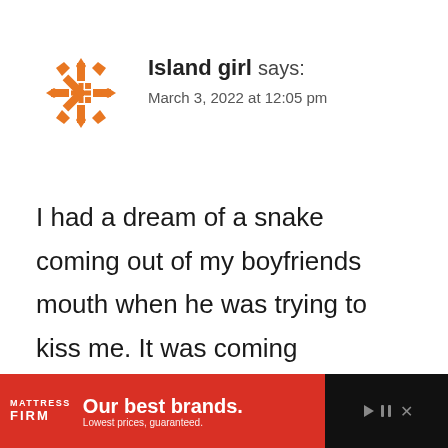[Figure (logo): Orange geometric snowflake/asterisk avatar icon for user Island girl]
Island girl says:
March 3, 2022 at 12:05 pm
I had a dream of a snake coming out of my boyfriends mouth when he was trying to kiss me. It was coming towards me. I had a beautiful, non-threatening feeling about the snake. It wasn't trying to bite me. The dream w...
[Figure (screenshot): Like/heart button (teal circle with heart icon) with count 131, and share button below it]
[Figure (logo): Mattress Firm advertisement banner at bottom: red background with Mattress Firm logo and text 'Our best brands. Lowest prices, guaranteed.']